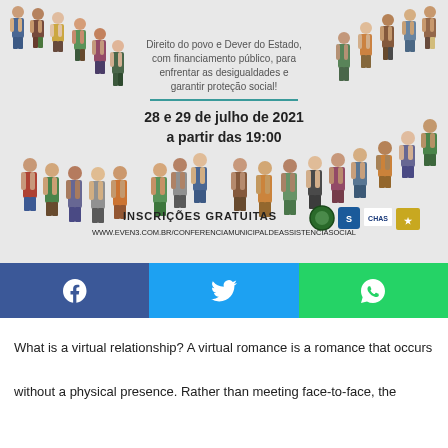[Figure (infographic): Event poster for a social assistance municipal conference. Shows illustrated people standing in a curved arc/smile shape around central text. Text reads: 'Direito do povo e Dever do Estado, com financiamento público, para enfrentar as desigualdades e garantir proteção social!' with dates '28 e 29 de julho de 2021 a partir das 19:00'. Bottom shows 'INSCRIÇÕES GRATUITAS' and URL 'WWW.EVEN3.COM.BR/CONFERENCIAMUNICIPALDEASSISTENCIASOCIAL' with institutional logos.]
[Figure (infographic): Social media share bar with Facebook (blue), Twitter (light blue), and WhatsApp (green) icons.]
What is a virtual relationship? A virtual romance is a romance that occurs without a physical presence. Rather than meeting face-to-face, the